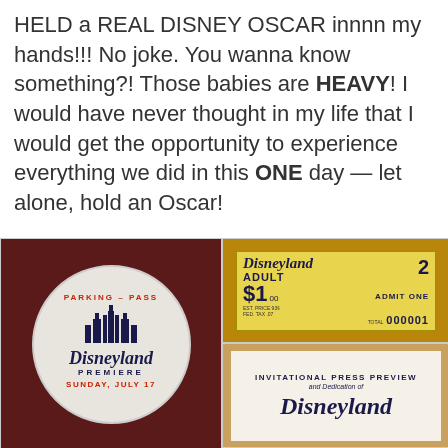HELD a REAL DISNEY OSCAR innnn my hands!!! No joke. You wanna know something?! Those babies are HEAVY! I would have never thought in my life that I would get the opportunity to experience everything we did in this ONE day — let alone, hold an Oscar!
[Figure (photo): Three photos: left shows a circular Disneyland Premiere Parking Pass for Sunday July 17 on a dark red background; top-right shows a vintage Disneyland Adult admission ticket numbered 000001 priced at $1.00; bottom-right shows an Invitational Press Preview and Dedication of Disneyland ticket/card.]